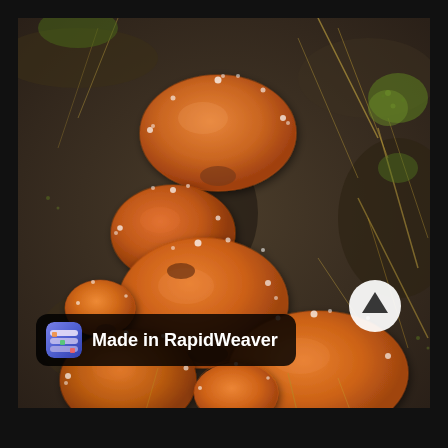[Figure (photo): Close-up photograph of multiple orange cup fungi (possibly Aleuria or similar species) growing on dark mossy/woody substrate. The fungi have smooth, round orange caps with tiny water droplets on their edges. Several mushrooms of varying sizes are clustered together against a background of dark decomposing material and dried grass/plant debris.]
Made in RapidWeaver